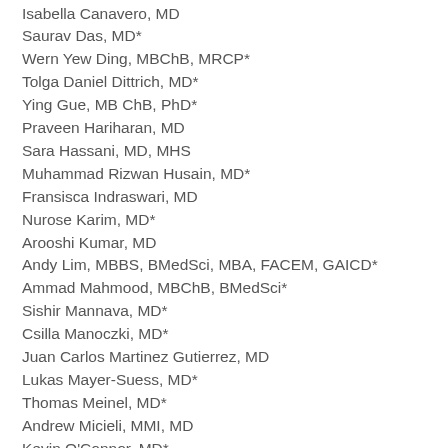Isabella Canavero, MD
Saurav Das, MD*
Wern Yew Ding, MBChB, MRCP*
Tolga Daniel Dittrich, MD*
Ying Gue, MB ChB, PhD*
Praveen Hariharan, MD
Sara Hassani, MD, MHS
Muhammad Rizwan Husain, MD*
Fransisca Indraswari, MD
Nurose Karim, MD*
Arooshi Kumar, MD
Andy Lim, MBBS, BMedSci, MBA, FACEM, GAICD*
Ammad Mahmood, MBChB, BMedSci*
Sishir Mannava, MD*
Csilla Manoczki, MD*
Juan Carlos Martinez Gutierrez, MD
Lukas Mayer-Suess, MD*
Thomas Meinel, MD*
Andrew Micieli, MMI, MD
Kevin O'Connor, MD*
Lauren A. Peruski, DO*
Hannah Roeder, MD, MPH
Faddi G. Saleh Velez, MD